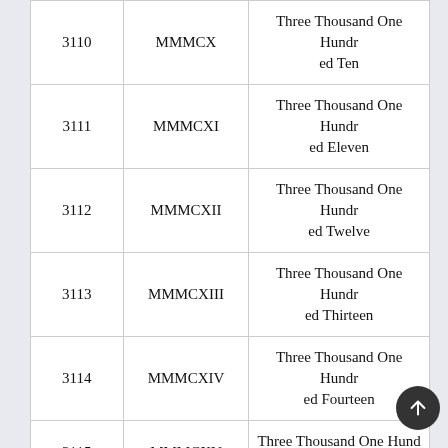| Number | Roman Numeral | In Words |
| --- | --- | --- |
| 3110 | MMMCX | Three Thousand One Hundred Ten |
| 3111 | MMMCXI | Three Thousand One Hundred Eleven |
| 3112 | MMMCXII | Three Thousand One Hundred Twelve |
| 3113 | MMMCXIII | Three Thousand One Hundred Thirteen |
| 3114 | MMMCXIV | Three Thousand One Hundred Fourteen |
| 3115 | MMMCXV | Three Thousand One Hundred Fifteen |